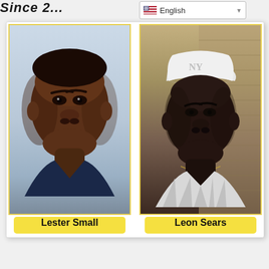Since 2...
English (language selector dropdown)
[Figure (photo): Two side-by-side portrait photos. Left: a man identified as Lester Small, front-facing portrait against a light blue background. Right: a man identified as Leon Sears, wearing a white NY Yankees baseball cap and striped shirt, against a tan/brick wall background. Each photo has a yellow label beneath it with the person's name.]
Lester Small
Leon Sears